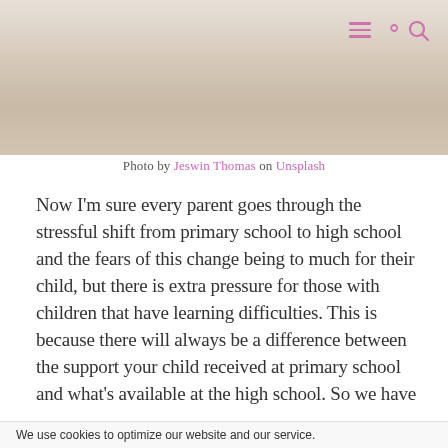[Figure (photo): Blurred classroom/education setting photo used as header image]
Photo by Jeswin Thomas on Unsplash
Now I'm sure every parent goes through the stressful shift from primary school to high school and the fears of this change being to much for their child, but there is extra pressure for those with children that have learning difficulties. This is because there will always be a difference between the support your child received at primary school and what's available at the high school. So we have prepared a list of recommended resources that [suitable for this transition period f…]
We use cookies to optimize our website and our service.